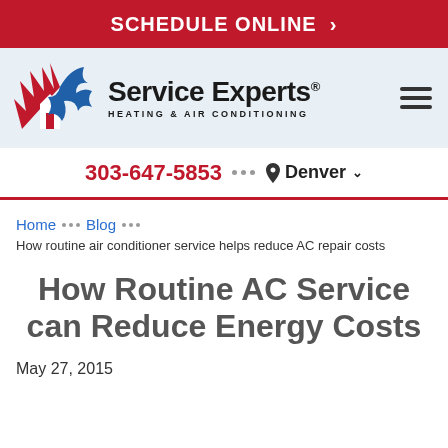SCHEDULE ONLINE >
[Figure (logo): Service Experts Heating & Air Conditioning logo with flame and snowflake icon]
303-647-5853 ••• Denver
Home ••• Blog ••• How routine air conditioner service helps reduce AC repair costs
How Routine AC Service can Reduce Energy Costs
May 27, 2015